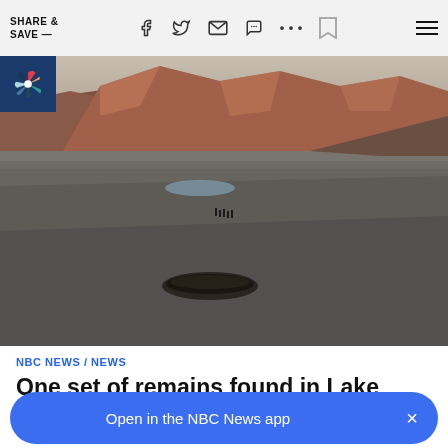SHARE & SAVE —
[Figure (photo): Aerial view of dried lakebed at Lake Mead with distant red-brown mountains, a beached boat hull visible in the foreground, and tiny human figures in the distance. The landscape is gray and barren due to drought-reduced water levels.]
NBC NEWS / NEWS
One set of remains found in Lake Mead has been identified
Open in the NBC News app